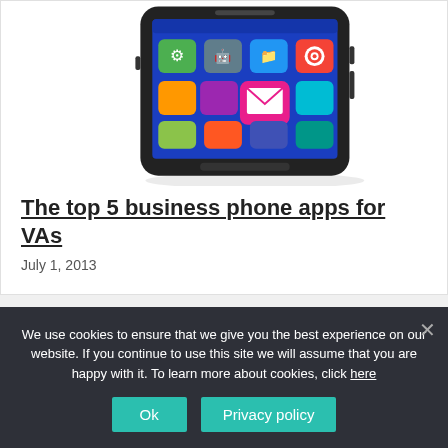[Figure (photo): A smartphone displayed at an angle showing a blue home screen with colorful app icons including an envelope/mail icon, a target/bullseye icon, and other icons.]
The top 5 business phone apps for VAs
July 1, 2013
We use cookies to ensure that we give you the best experience on our website. If you continue to use this site we will assume that you are happy with it. To learn more about cookies, click here